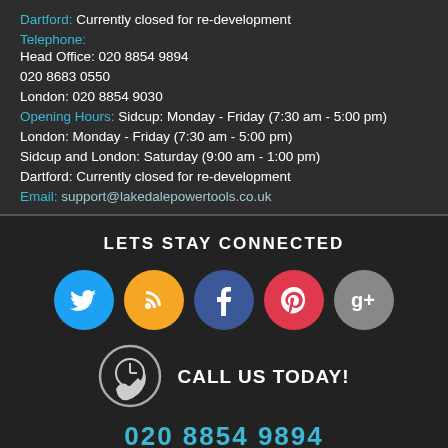Dartford: Currently closed for re-development
Telephone:
Head Office: 020 8854 9894
020 8683 0550
London: 020 8854 9030
Opening Hours: Sidcup: Monday - Friday (7:30 am - 5:00 pm)
London: Monday - Friday (7:30 am - 5:00 pm)
Sidcup and London: Saturday (9:00 am - 1:00 pm)
Dartford: Currently closed for re-development
Email: support@lakedalepowertools.co.uk
LETS STAY CONNECTED
[Figure (infographic): Row of five social media icon circles: Twitter (blue), RSS (orange), Facebook (dark blue), Pinterest (red), Google+ (grey)]
[Figure (infographic): Phone/clock icon with CALL US TODAY! text]
020 8854 9894